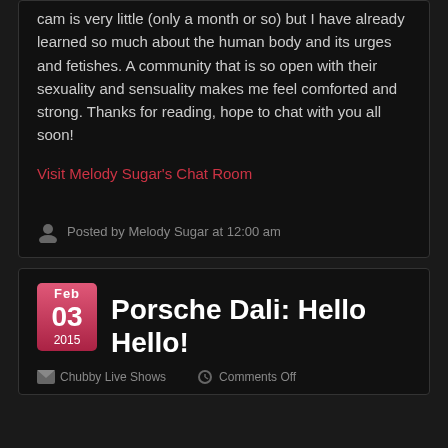cam is very little (only a month or so) but I have already learned so much about the human body and its urges and fetishes. A community that is so open with their sexuality and sensuality makes me feel comforted and strong. Thanks for reading, hope to chat with you all soon!
Visit Melody Sugar's Chat Room
Posted by Melody Sugar at 12:00 am
Porsche Dali: Hello Hello!
Feb 03 2015
Chubby Live Shows
Comments Off